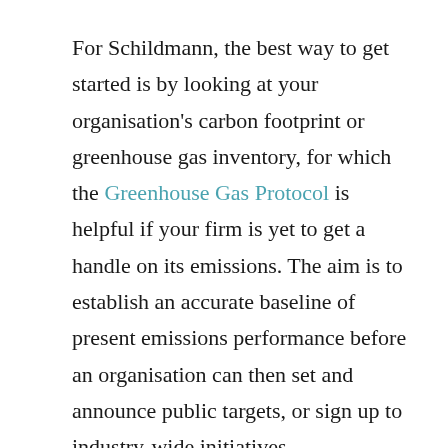For Schildmann, the best way to get started is by looking at your organisation's carbon footprint or greenhouse gas inventory, for which the Greenhouse Gas Protocol is helpful if your firm is yet to get a handle on its emissions. The aim is to establish an accurate baseline of present emissions performance before an organisation can then set and announce public targets, or sign up to industry-wide initiatives.

"Adopting these standards will position you for an accurate and credible carbon footprint from which to base your climate commitments," he explained. "You can use data about your carbon footprint -